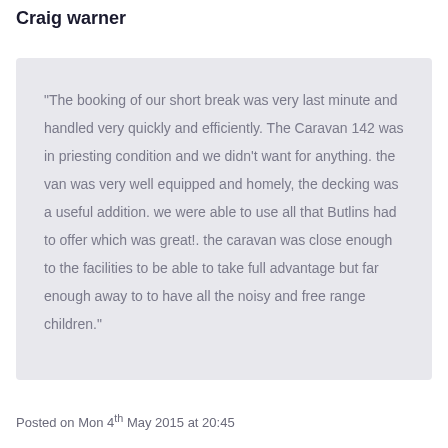Craig warner
“The booking of our short break was very last minute and handled very quickly and efficiently. The Caravan 142 was in priesting condition and we didn't want for anything. the van was very well equipped and homely, the decking was a useful addition. we were able to use all that Butlins had to offer which was great!. the caravan was close enough to the facilities to be able to take full advantage but far enough away to to have all the noisy and free range children.”
Posted on Mon 4th May 2015 at 20:45